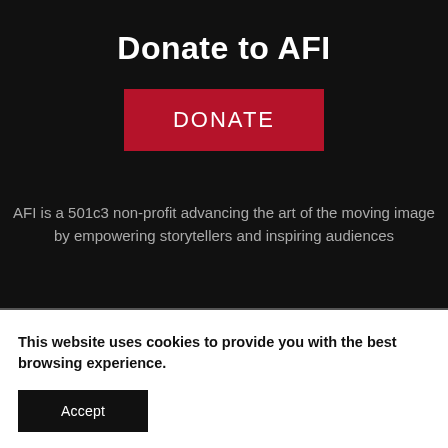Donate to AFI
[Figure (other): Red donate button with text DONATE]
AFI is a 501c3 non-profit advancing the art of the moving image by empowering storytellers and inspiring audiences
This website uses cookies to provide you with the best browsing experience.
[Figure (other): Black Accept button for cookie consent]